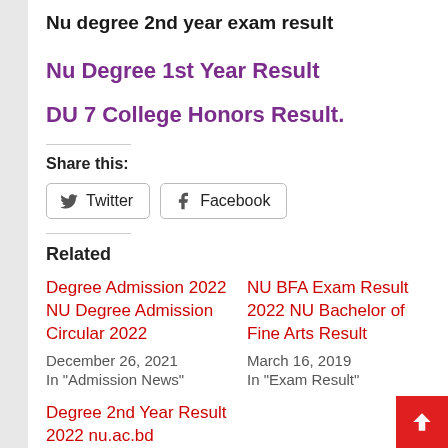Nu degree 2nd year exam result
Nu Degree 1st Year Result
DU 7 College Honors Result.
Share this:
Twitter  Facebook
Related
Degree Admission 2022 NU Degree Admission Circular 2022
December 26, 2021
In "Admission News"
NU BFA Exam Result 2022 NU Bachelor of Fine Arts Result
March 16, 2019
In "Exam Result"
Degree 2nd Year Result 2022 nu.ac.bd [Download your result